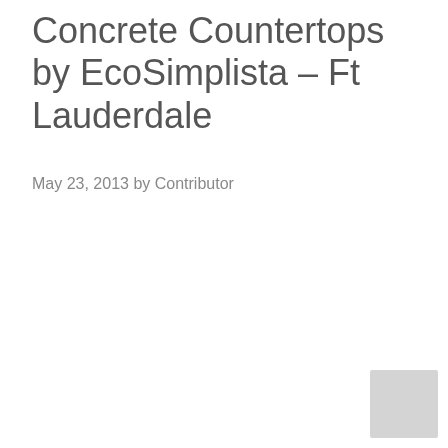Concrete Countertops by EcoSimplista – Ft Lauderdale
May 23, 2013 by Contributor